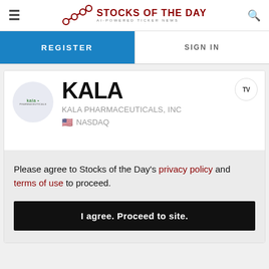STOCKS OF THE DAY — AI-POWERED TICKER NEWS
REGISTER
SIGN IN
KALA
KALA PHARMACEUTICALS, INC
NASDAQ
Please agree to Stocks of the Day's privacy policy and terms of use to proceed.
I agree. Proceed to site.